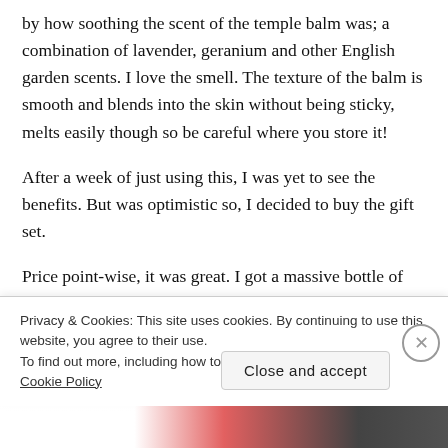by how soothing the scent of the temple balm was; a combination of lavender, geranium and other English garden scents. I love the smell. The texture of the balm is smooth and blends into the skin without being sticky, melts easily though so be careful where you store it!
After a week of just using this, I was yet to see the benefits. But was optimistic so, I decided to buy the gift set.
Price point-wise, it was great. I got a massive bottle of pillow mist, the same amount of balm as well as a high-quality eye mask all for this low price (plus my Boots Advantage Card
Privacy & Cookies: This site uses cookies. By continuing to use this website, you agree to their use.
To find out more, including how to control cookies, see here:
Cookie Policy
Close and accept